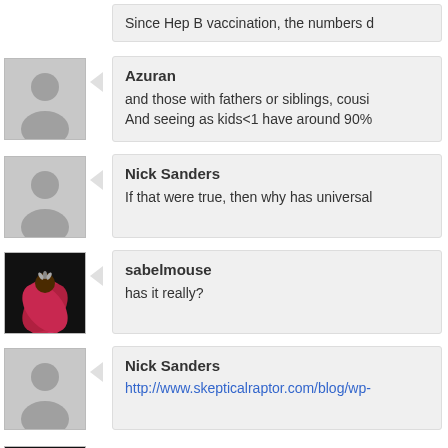Since Hep B vaccination, the numbers d
Azuran
and those with fathers or siblings, cousi
And seeing as kids<1 have around 90%
Nick Sanders
If that were true, then why has universal
sabelmouse
has it really?
Nick Sanders
http://www.skepticalraptor.com/blog/wp-